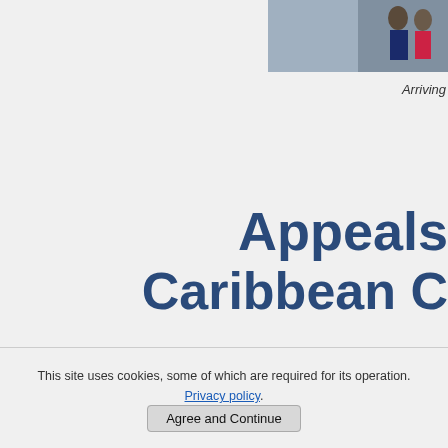[Figure (photo): Partial photo of person in top right corner, partially cropped]
Arriving
Appeals Caribbean C
The Caribbean Weather
Many tourists choose a family Car great almost all year round. You w the Caribbean.
This site uses cookies, some of which are required for its operation. Privacy policy Agree and Continue